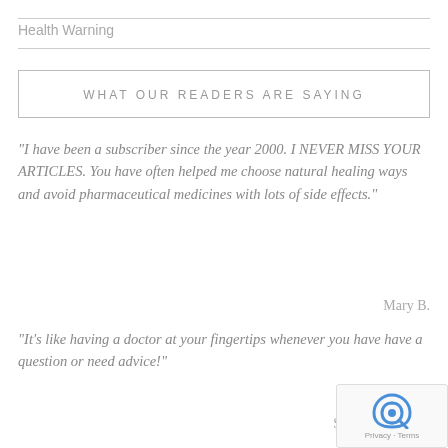Health Warning
WHAT OUR READERS ARE SAYING
“I have been a subscriber since the year 2000. I NEVER MISS YOUR ARTICLES. You have often helped me choose natural healing ways and avoid pharmaceutical medicines with lots of side effects.”
Mary B.
“It’s like having a doctor at your fingertips whenever you have have a question or need advice!”
Su